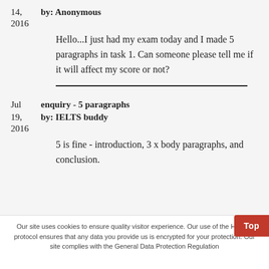14, by: Anonymous
2016
Hello...I just had my exam today and I made 5 paragraphs in task 1. Can someone please tell me if it will affect my score or not?
Jul 19, enquiry - 5 paragraphs
by: IELTS buddy
2016
5 is fine - introduction, 3 x body paragraphs, and conclusion.
Our site uses cookies to ensure quality visitor experience. Our use of the HTTPS protocol ensures that any data you provide us is encrypted for your protection. Our site complies with the General Data Protection Regulation